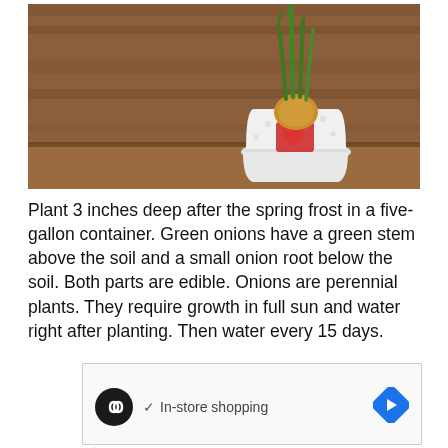[Figure (photo): Photo of a white ceramic pot with red ribbon decoration containing a growing onion bulb with green shoots, placed on a wooden shelf background]
Plant 3 inches deep after the spring frost in a five-gallon container. Green onions have a green stem above the soil and a small onion root below the soil. Both parts are edible. Onions are perennial plants. They require growth in full sun and water right after planting. Then water every 15 days.
[Figure (screenshot): Advertisement banner with a black circle logo with infinity-loop icon, checkmark with 'In-store shopping' text, and a blue navigation arrow diamond icon, plus small play and X icons at bottom left]